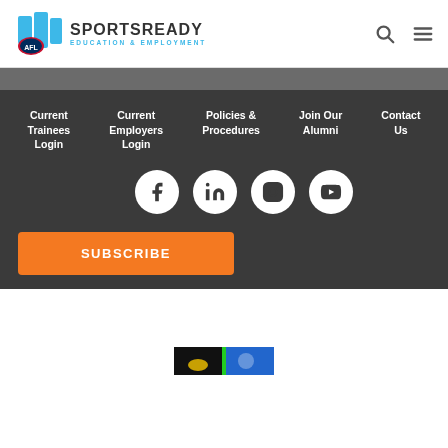[Figure (logo): SportsReady AFL Education & Employment logo with blue shield/building icon and text]
[Figure (infographic): Navigation menu with dark background showing: Current Trainees Login, Current Employers Login, Policies & Procedures, Join Our Alumni, Contact Us. Social media icons for Facebook, LinkedIn, Instagram, YouTube. Orange SUBSCRIBE button.]
[Figure (screenshot): Partial footer image strip at bottom of page showing a small image with black/green/blue colors]